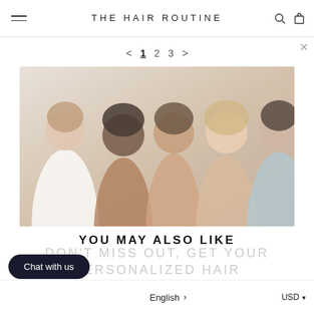THE HAIR ROUTINE
< 1 2 3 >
[Figure (photo): Group of five diverse smiling women posed together, soft warm tones background]
YOU MAY ALSO LIKE
DON'T MISS OUT, GET YOUR PERSONALIZED HAIR ROUTINE NOW.
Take our free consultation and start to build healthy hair habits today.
GET YOUR PERSONALIZED ROUTINE
[Figure (photo): Product jar - Balancing]
BALANCING
[Figure (photo): Product jar - Moisturizing]
MOISTUR
Chat with us
English  ›
USD ▾